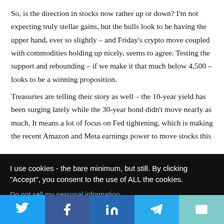So, is the direction in stocks now rather up or down? I'm not expecting truly stellar gains, but the bulls look to be having the upper hand, ever so slightly – and Friday's crypto move coupled with commodities holding up nicely, seems to agree. Testing the support and rebounding – if we make it that much below 4,500 – looks to be a winning proposition.
Treasuries are telling their story as well – the 10-year yield has been surging lately while the 30-year bond didn't move nearly as much. It means a lot of focus on Fed tightening, which is making the recent Amazon and Meta earnings power to move stocks this…
I use cookies - the bare minimum, but still. By clicking "Accept", you consent to the use of ALL the cookies.
Do not sell my personal information